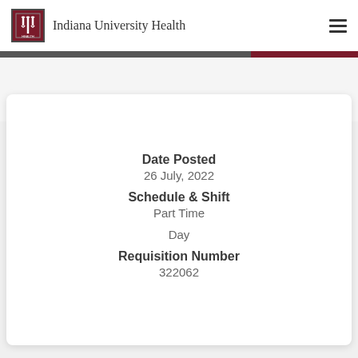Indiana University Health
Date Posted
26 July, 2022
Schedule & Shift
Part Time
Day
Requisition Number
322062